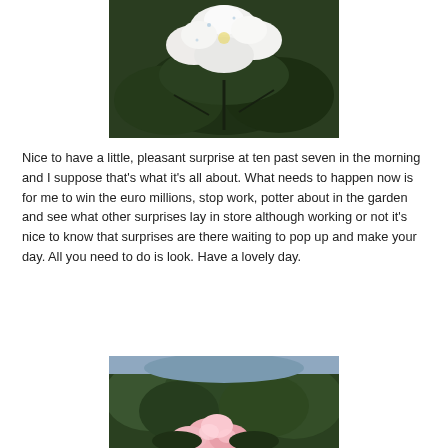[Figure (photo): Close-up photograph of white flowers with dark green leaves, with water droplets visible on the petals]
Nice to have a little, pleasant surprise at ten past seven in the morning and I suppose that’s what it’s all about. What needs to happen now is for me to win the euro millions, stop work, potter about in the garden and see what other surprises lay in store although working or not it’s nice to know that surprises are there waiting to pop up and make your day. All you need to do is look. Have a lovely day.
[Figure (photo): Photograph of pink flowers with green shrubs and trees in the background]